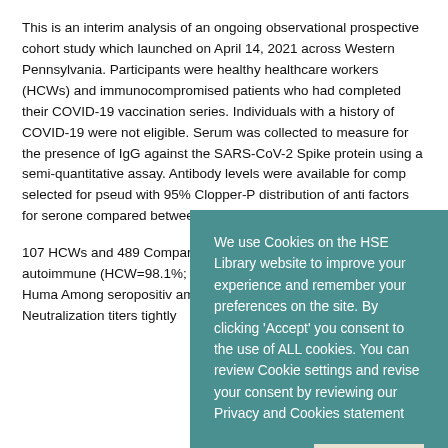This is an interim analysis of an ongoing observational prospective cohort study which launched on April 14, 2021 across Western Pennsylvania. Participants were healthy healthcare workers (HCWs) and immunocompromised patients who had completed their COVID-19 vaccination series. Individuals with a history of COVID-19 were not eligible. Serum was collected to measure for the presence of IgG against the SARS-CoV-2 Spike protein using a semi-quantitative assay. Antibody levels were available for comp… selected for pseudo… with 95% Clopper-P… distribution of anti… factors for serone… compared between… individuals within t…
107 HCWs and 489… Compared to HCW… among immunoco… (SOT), autoimmune… (HCW=98.1%; SOT=… malignancies=54.7… patients with Huma… Among seropositiv… among SOT (4.5 [2.1,13.1], p=.020). Neutralization titers tightly
We use Cookies on the HSE Library website to improve your experience and remember your preferences on the site. By clicking 'Accept' you consent to the use of ALL cookies. You can review Cookie settings and revise your consent by reviewing our Privacy and Cookies statement